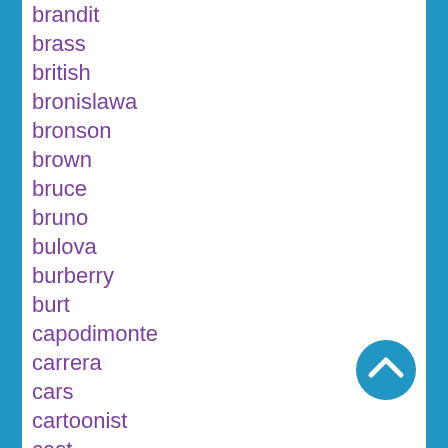brandit
brass
british
bronislawa
bronson
brown
bruce
bruno
bulova
burberry
burt
capodimonte
carrera
cars
cartoonist
cast
ceiling
centurion
century
ceramic
certified